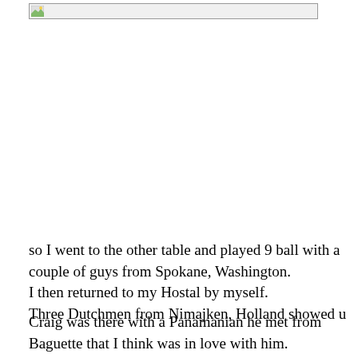[Figure (photo): A broken/loading image placeholder icon in the upper portion of the page]
so I went to the other table and played 9 ball with a couple of guys from Spokane, Washington.
  I then returned to my Hostal by myself.
        Three Dutchmen from Nimajken, Holland showed u
Craig was there with a Panamanian he met from Baguette that I think was in love with him.